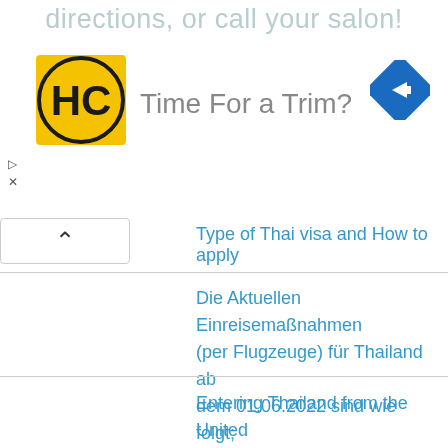directions, or call your salon!
[Figure (logo): HC logo - yellow square with black HC initials]
[Figure (other): Blue diamond navigation/directions icon with white right arrow]
Time For a Trim?
Type of Thai visa and How to apply
Die Aktuellen Einreisemaßnahmen (per Flugzeuge) für Thailand ab dem 01.06.2022 sind wie folgt;
Entering Thailand from the United Kingdom and Ireland from 1 June 2022 onwards,